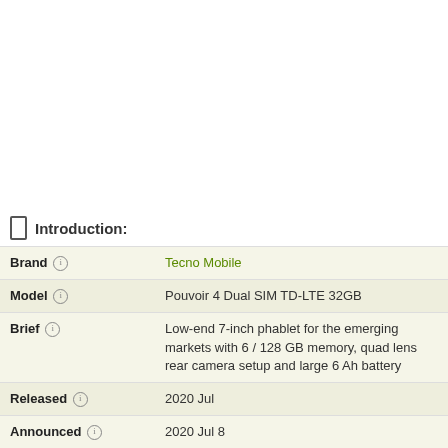Introduction:
| Field | Value |
| --- | --- |
| Brand | Tecno Mobile |
| Model | Pouvoir 4 Dual SIM TD-LTE 32GB |
| Brief | Low-end 7-inch phablet for the emerging markets with 6 / 128 GB memory, quad lens rear camera setup and large 6 Ah battery |
| Released | 2020 Jul |
| Announced | 2020 Jul 8 |
| General Extras | Haptic touch feedback |
| Device Category | Smartphone |